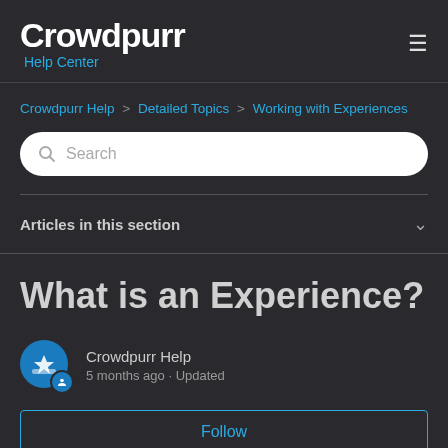Crowdpurr Help Center
Crowdpurr Help > Detailed Topics > Working with Experiences
Search
Articles in this section
What is an Experience?
Crowdpurr Help
5 months ago · Updated
Follow